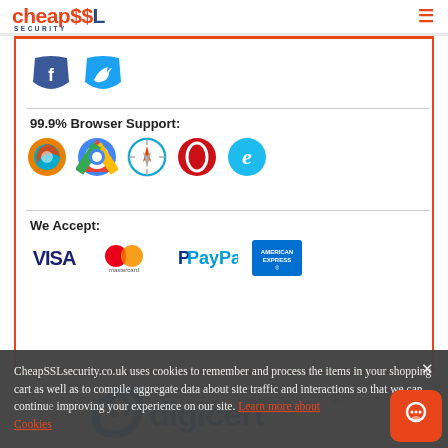CheapSSL SECURITY — navigation header with hamburger menu
[Figure (logo): Facebook and Twitter social media shield icons]
99.9% Browser Support:
[Figure (illustration): Browser icons: Firefox, Chrome, Safari, Opera, Internet Explorer]
We Accept:
[Figure (illustration): Payment icons: VISA, Mastercard, PayPal, American Express]
[Figure (logo): DigiCert logo with swirl]
CheapSSLsecurity.co.uk uses cookies to remember and process the items in your shopping cart as well as to compile aggregate data about site traffic and interactions so that we can continue improving your experience on our site. Learn more about Cookies